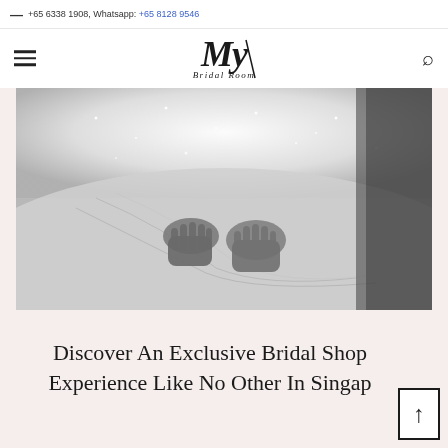— +65 6338 1908, Whatsapp: +65 8128 9546
[Figure (logo): My Bridal Room logo in italic script font with decorative slash]
[Figure (photo): Black and white close-up photo of a bride's hands resting on an elaborate sparkly wedding dress with textured fabric]
Discover An Exclusive Bridal Shop Experience Like No Other In Singapore